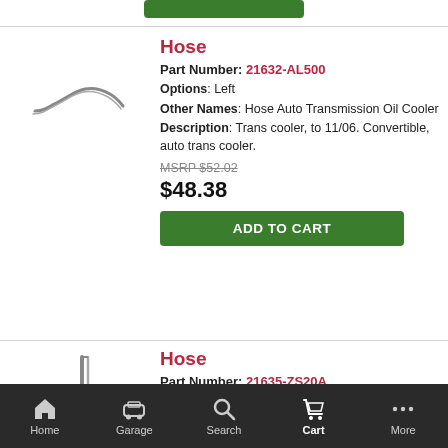[Figure (illustration): Green Add to Cart button stub at top of page (partially visible)]
Hose
Part Number: 21632-AL500
Options: Left
Other Names: Hose Auto Transmission Oil Cooler
Description: Trans cooler, to 11/06. Convertible, auto trans cooler.
MSRP $52.02
$48.38
[Figure (illustration): Line drawing of a curved hose part (S-curve shaped)]
[Figure (illustration): Add to Cart green button]
Hose
Part Number: 21635-ZS20A
Other Names: Hose Radiator To Oil Cooler
Description: #3.
[Figure (illustration): Line drawing of a hose with an elbow bend, partially visible]
Home  Garage  Search  Cart  More